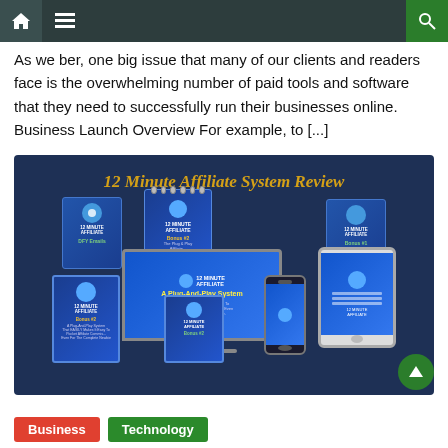Navigation bar with home, menu, and search icons
As we ber, one big issue that many of our clients and readers face is the overwhelming number of paid tools and software that they need to successfully run their businesses online. Business Launch Overview For example, to [...]
[Figure (illustration): 12 Minute Affiliate System Review promotional image showing various product mockups including boxes, notebooks, monitor, phone, and tablet on a dark blue background with gold italic title text]
Business
Technology